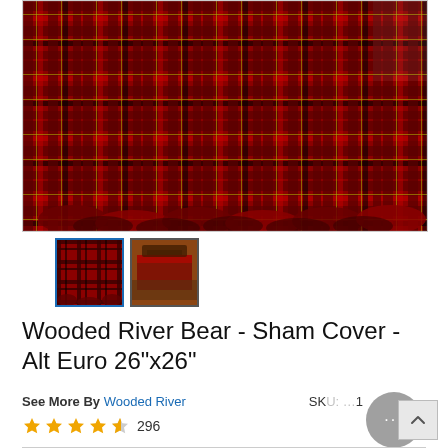[Figure (photo): Red and black tartan plaid pillow sham with ruffled edges, shown as the main product image]
[Figure (photo): Thumbnail 1: Square view of the red plaid sham with ruffled border, selected with blue border]
[Figure (photo): Thumbnail 2: Bedroom scene showing red plaid bedding set on a bed]
Wooded River Bear - Sham Cover - Alt Euro 26"x26"
See More By Wooded River
SK...1
★★★★½ 296